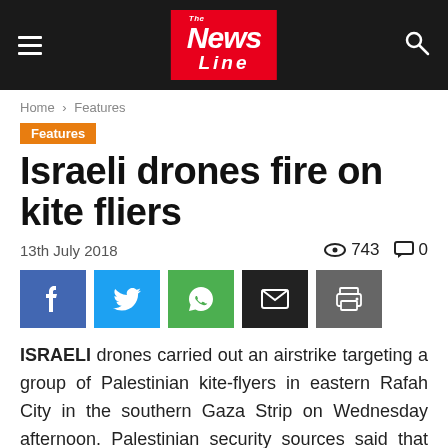The News Line
Home › Features
Features
Israeli drones fire on kite fliers
13th July 2018
743 views  0 comments
ISRAELI drones carried out an airstrike targeting a group of Palestinian kite-flyers in eastern Rafah City in the southern Gaza Strip on Wednesday afternoon. Palestinian security sources said that Israeli drones launched a rocket at a group of Palestinians near the Sufa crossing in